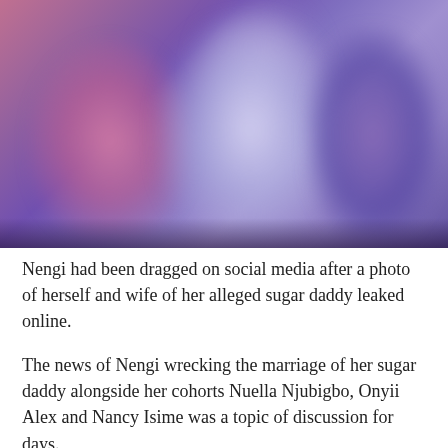[Figure (photo): Blurry photo of people in a dimly lit venue with purple/pink lighting. Figures are out of focus. One person visible on left with pinkish tone, another in center wearing white, and darker figures on the right.]
Nengi had been dragged on social media after a photo of herself and wife of her alleged sugar daddy leaked online.
The news of Nengi wrecking the marriage of her sugar daddy alongside her cohorts Nuella Njubigbo, Onyii Alex and Nancy Isime was a topic of discussion for days.